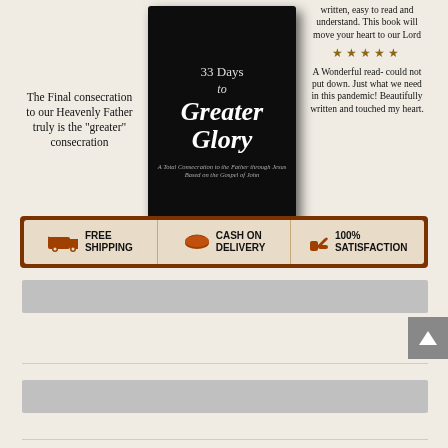[Figure (illustration): Book advertisement for '33 Days to Greater Glory' showing book cover in center, left column with text about consecration, right column with star reviews, and bottom bar with Free Shipping, Cash on Delivery, and 100% Satisfaction icons]
The Final consecration to our Heavenly Father truly is the "greater" consecration
written, easy to read and understand. This book will move your heart to our Lord
A Wonderful read- could not put down. Just what we need in this pandemic! Beautifully written and touched my heart.
FREE SHIPPING   CASH ON DELIVERY   100% SATISFACTION